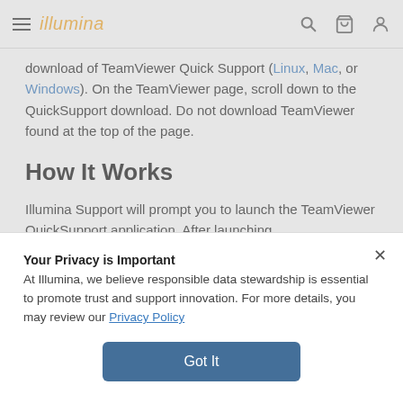illumina
download of TeamViewer Quick Support (Linux, Mac, or Windows). On the TeamViewer page, scroll down to the QuickSupport download. Do not download TeamViewer found at the top of the page.
How It Works
Illumina Support will prompt you to launch the TeamViewer QuickSupport application. After launching,
Your Privacy is Important
At Illumina, we believe responsible data stewardship is essential to promote trust and support innovation. For more details, you may review our Privacy Policy
Got It